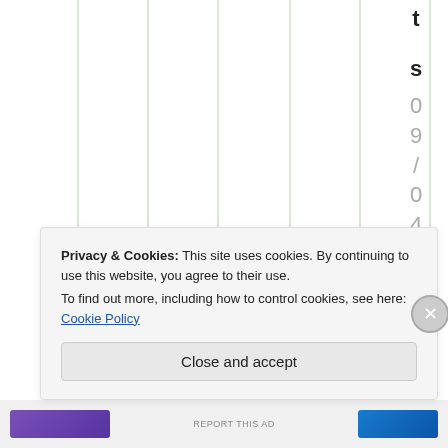[Figure (other): Partial view of a chart with vertical gridlines and a rotated date label '09/04/2021' visible on the right side, shown character by character vertically.]
Privacy & Cookies: This site uses cookies. By continuing to use this website, you agree to their use.
To find out more, including how to control cookies, see here: Cookie Policy
Close and accept